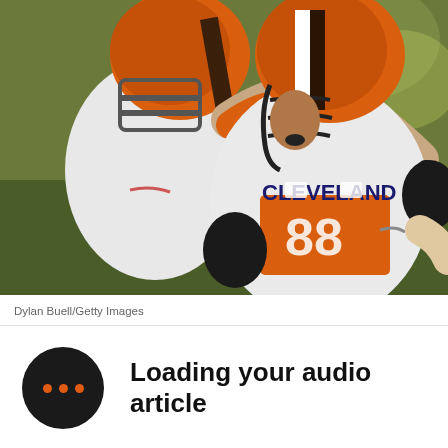[Figure (photo): Two Cleveland Browns NFL players in white and orange uniforms and orange helmets celebrating, one with jersey number 88 visible reading CLEVELAND, hugging/embracing on the field with stadium lights in background]
Dylan Buell/Getty Images
Loading your audio article